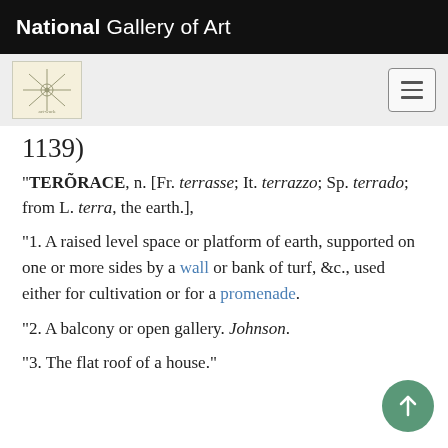National Gallery of Art
1139)
"TERÕRACE, n. [Fr. terrasse; It. terrazzo; Sp. terrado; from L. terra, the earth.],
"1. A raised level space or platform of earth, supported on one or more sides by a wall or bank of turf, &c., used either for cultivation or for a promenade.
"2. A balcony or open gallery. Johnson.
"3. The flat roof of a house."